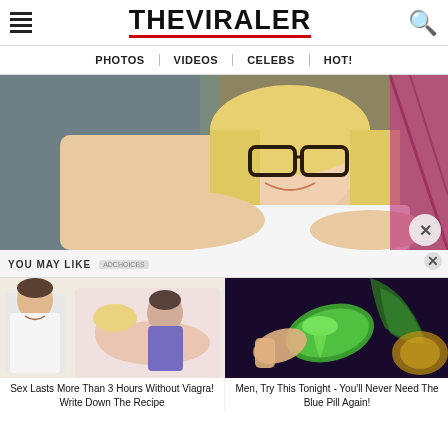THE VIRALER
PHOTOS | VIDEOS | CELEBS | HOT!
[Figure (photo): Blonde woman with glasses smiling, wearing white top, posing near glass door]
YOU MAY LIKE
[Figure (illustration): Ad thumbnail: man in white coat next to illustrated couple]
Sex Lasts More Than 3 Hours Without Viagra! Write Down The Recipe
[Figure (photo): Ad thumbnail: green aloe vera gel on plant leaf]
Men, Try This Tonight - You'll Never Need The Blue Pill Again!